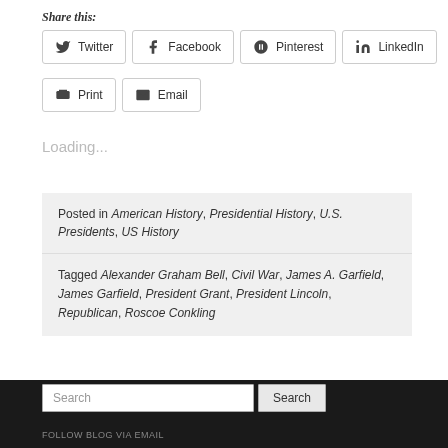Share this:
[Figure (other): Social share buttons: Twitter, Facebook, Pinterest, LinkedIn, Print, Email]
Loading...
Posted in American History, Presidential History, U.S. Presidents, US History
Tagged Alexander Graham Bell, Civil War, James A. Garfield, James Garfield, President Grant, President Lincoln, Republican, Roscoe Conkling
Search  FOLLOW BLOG VIA EMAIL